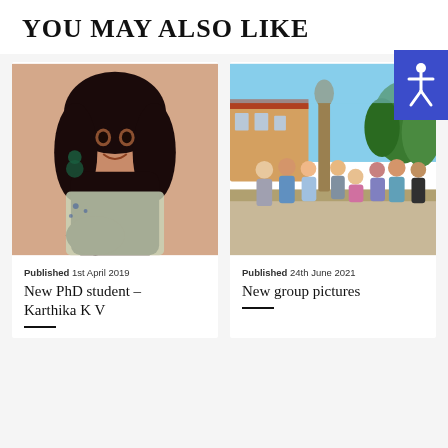YOU MAY ALSO LIKE
[Figure (photo): Accessibility button with person/wheelchair icon on dark blue background]
[Figure (photo): Portrait photo of a young woman with long dark hair and earrings, smiling]
Published 1st April 2019
New PhD student – Karthika K V
[Figure (photo): Group photo of students standing around a statue in an outdoor European town square setting]
Published 24th June 2021
New group pictures